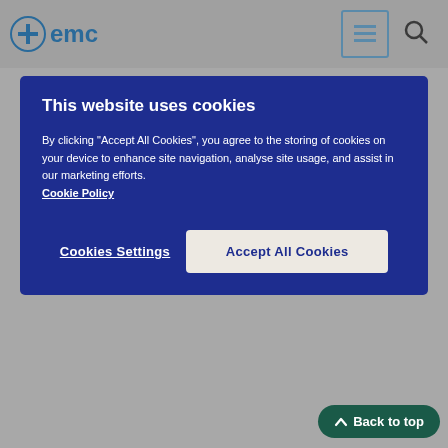emc
This website uses cookies
By clicking "Accept All Cookies", you agree to the storing of cookies on your device to enhance site navigation, analyse site usage, and assist in our marketing efforts. Cookie Policy
Cookies Settings
Accept All Cookies
increased, if necessary. Your doctor should aim to prescribe the lowest dose for the shortest time that gives you relief from your symptoms. Talk to your doctor if your symptoms are not better after three months. If you feel that the effect of Indivina is too strong or too weak, do not change the dose or stop taking the tablets yourself, but ask your doctor for advice.
If you are not having periods and you have not previously taken HRT or you are changing from another continuous combined HRT product, treatment with Indivina may be started on any day.
If you switch from a cyclic HRT regimen, start Indivina treatment one